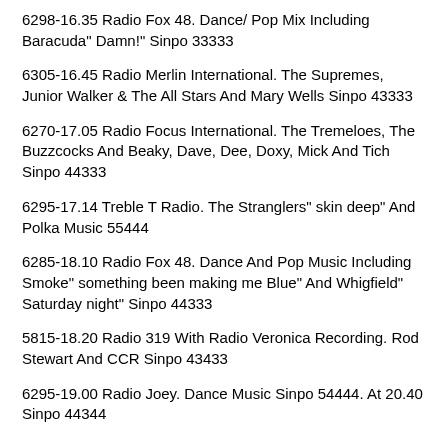6298-16.35 Radio Fox 48. Dance/ Pop Mix Including Baracuda" Damn!" Sinpo 33333
6305-16.45 Radio Merlin International. The Supremes, Junior Walker & The All Stars And Mary Wells Sinpo 43333
6270-17.05 Radio Focus International. The Tremeloes, The Buzzcocks And Beaky, Dave, Dee, Doxy, Mick And Tich Sinpo 44333
6295-17.14 Treble T Radio. The Stranglers" skin deep" And Polka Music 55444
6285-18.10 Radio Fox 48. Dance And Pop Music Including Smoke" something been making me Blue" And Whigfield" Saturday night" Sinpo 44333
5815-18.20 Radio 319 With Radio Veronica Recording. Rod Stewart And CCR Sinpo 43433
6295-19.00 Radio Joey. Dance Music Sinpo 54444. At 20.40 Sinpo 44344